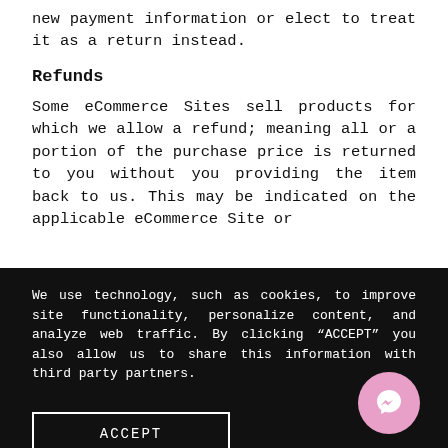new payment information or elect to treat it as a return instead.
Refunds
Some eCommerce Sites sell products for which we allow a refund; meaning all or a portion of the purchase price is returned to you without you providing the item back to us. This may be indicated on the applicable eCommerce Site or
We use technology, such as cookies, to improve site functionality, personalize content, and analyze web traffic. By clicking “ACCEPT” you also allow us to share this information with third party partners.
ACCEPT